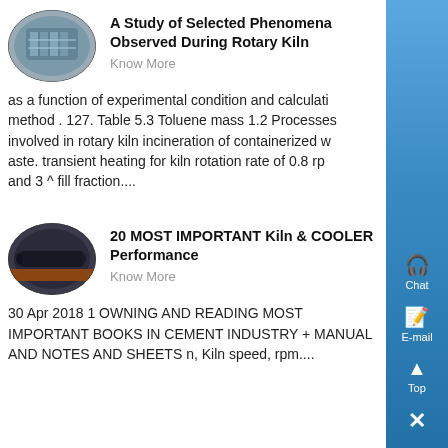[Figure (photo): Oval thumbnail image of a rotary kiln industrial equipment]
A Study of Selected Phenomena Observed During Rotary Kiln
Know More
as a function of experimental condition and calculati method . 127. Table 5.3 Toluene mass 1.2 Processes involved in rotary kiln incineration of containerized w aste. transient heating for kiln rotation rate of 0.8 rp and 3 ^ fill fraction....
[Figure (photo): Oval thumbnail image of a dark cylindrical kiln cooler equipment]
20 MOST IMPORTANT Kiln & COOLER Performance
Know More
30 Apr 2018 1 OWNING AND READING MOST IMPORTANT BOOKS IN CEMENT INDUSTRY + MANUAL AND NOTES AND SHEETS n, Kiln speed, rpm....